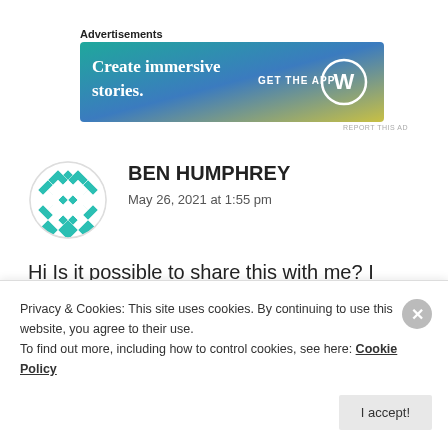Advertisements
[Figure (screenshot): WordPress advertisement banner: 'Create immersive stories. GET THE APP' with WordPress logo, gradient blue-green to yellow background]
[Figure (illustration): Circular user avatar with teal/green geometric floral pattern on white background]
BEN HUMPHREY
May 26, 2021 at 1:55 pm
Hi Is it possible to share this with me? I have had a look through and this would be ideal for my SEN class.
Privacy & Cookies: This site uses cookies. By continuing to use this website, you agree to their use.
To find out more, including how to control cookies, see here: Cookie Policy
I accept!